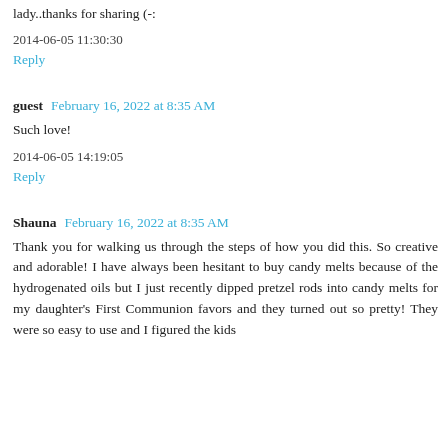lady..thanks for sharing (-:
2014-06-05 11:30:30
Reply
guest  February 16, 2022 at 8:35 AM
Such love!
2014-06-05 14:19:05
Reply
Shauna  February 16, 2022 at 8:35 AM
Thank you for walking us through the steps of how you did this. So creative and adorable! I have always been hesitant to buy candy melts because of the hydrogenated oils but I just recently dipped pretzel rods into candy melts for my daughter's First Communion favors and they turned out so pretty! They were so easy to use and I figured the kids wouldn't eat too many of the decorations into their mouths.